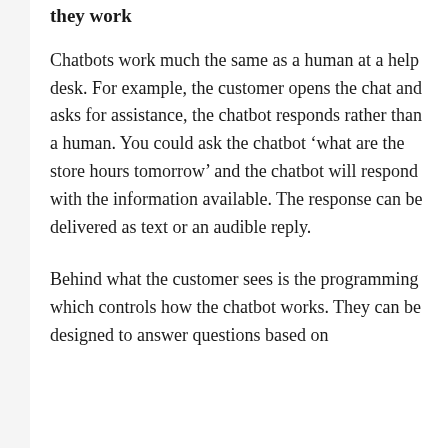they work
Chatbots work much the same as a human at a help desk. For example, the customer opens the chat and asks for assistance, the chatbot responds rather than a human. You could ask the chatbot ‘what are the store hours tomorrow’ and the chatbot will respond with the information available. The response can be delivered as text or an audible reply.
Behind what the customer sees is the programming which controls how the chatbot works. They can be designed to answer questions based on